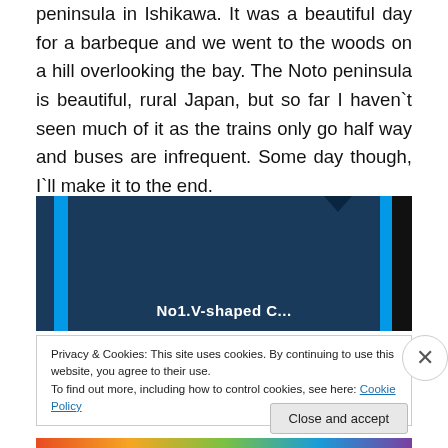peninsula in Ishikawa. It was a beautiful day for a barbeque and we went to the woods on a hill overlooking the bay. The Noto peninsula is beautiful, rural Japan, but so far I haven`t seen much of it as the trains only go half way and buses are infrequent. Some day though, I`ll make it to the end.
[Figure (photo): Dark blue background photo with cyan vertical stripes on left and right sides. Text at the bottom reads 'No1.V-shaped C...' in white bold lettering. A small triangular notch shape is visible at the top.]
Privacy & Cookies: This site uses cookies. By continuing to use this website, you agree to their use.
To find out more, including how to control cookies, see here: Cookie Policy